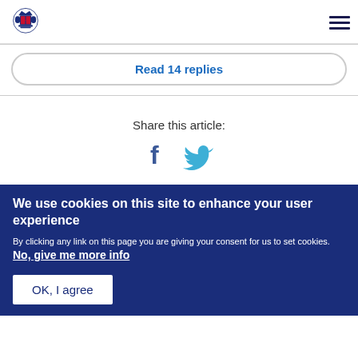UK Government crest logo and navigation menu
Read 14 replies
Share this article:
[Figure (infographic): Facebook and Twitter social sharing icons]
We use cookies on this site to enhance your user experience
By clicking any link on this page you are giving your consent for us to set cookies. No, give me more info
OK, I agree